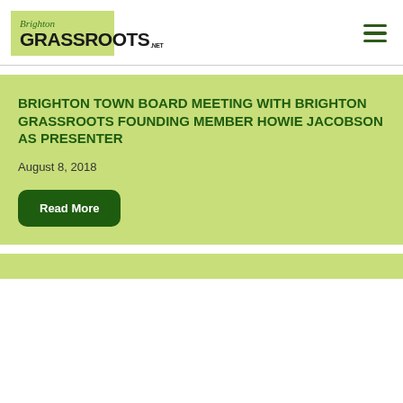[Figure (logo): Brighton Grassroots .net logo on a light green background]
BRIGHTON TOWN BOARD MEETING WITH BRIGHTON GRASSROOTS FOUNDING MEMBER HOWIE JACOBSON AS PRESENTER
August 8, 2018
Read More